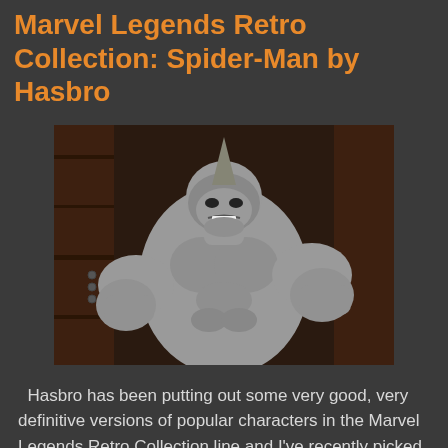Marvel Legends Retro Collection: Spider-Man by Hasbro
[Figure (photo): A gray Rhino action figure in a menacing pose with fists raised, wearing a rhino horn helmet, against a dark wooden background.]
Hasbro has been putting out some very good, very definitive versions of popular characters in the Marvel Legends Retro Collection line and I've recently picked up another villain: Rhino. The Rhino was released as a build-a-figure back in 2015 (so a good seven years ago) but now you can pick up an improved version of him as a single